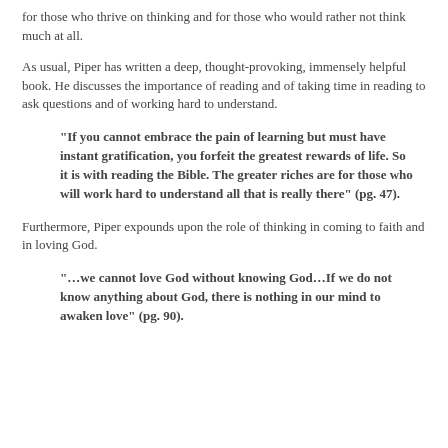for those who thrive on thinking and for those who would rather not think much at all.
As usual, Piper has written a deep, thought-provoking, immensely helpful book. He discusses the importance of reading and of taking time in reading to ask questions and of working hard to understand.
"If you cannot embrace the pain of learning but must have instant gratification, you forfeit the greatest rewards of life. So it is with reading the Bible. The greater riches are for those who will work hard to understand all that is really there" (pg. 47).
Furthermore, Piper expounds upon the role of thinking in coming to faith and in loving God.
"…we cannot love God without knowing God…If we do not know anything about God, there is nothing in our mind to awaken love" (pg. 90).